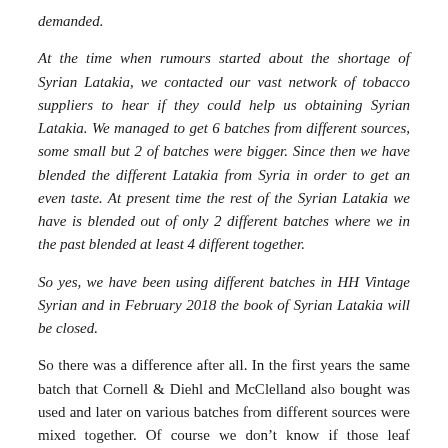demanded.
At the time when rumours started about the shortage of Syrian Latakia, we contacted our vast network of tobacco suppliers to hear if they could help us obtaining Syrian Latakia. We managed to get 6 batches from different sources, some small but 2 of batches were bigger. Since then we have blended the different Latakia from Syria in order to get an even taste. At present time the rest of the Syrian Latakia we have is blended out of only 2 different batches where we in the past blended at least 4 different together.
So yes, we have been using different batches in HH Vintage Syrian and in February 2018 the book of Syrian Latakia will be closed.
So there was a difference after all. In the first years the same batch that Cornell & Diehl and McClelland also bought was used and later on various batches from different sources were mixed together. Of course we don’t know if those leaf brokers who sold MacBaren their later Syrian latakia offered the real stuff. For example, in his Cyprian or Syrian? (Part II) blogpost well known master-blender GL Pease says (amongst other things) this: Since The (warehouse) Fire, there